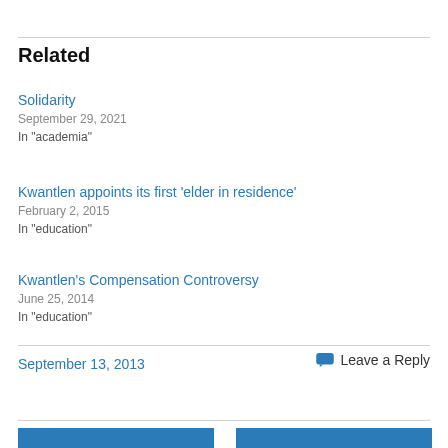Related
Solidarity
September 29, 2021
In "academia"
Kwantlen appoints its first ‘elder in residence’
February 2, 2015
In "education"
Kwantlen’s Compensation Controversy
June 25, 2014
In "education"
September 13, 2013
Leave a Reply